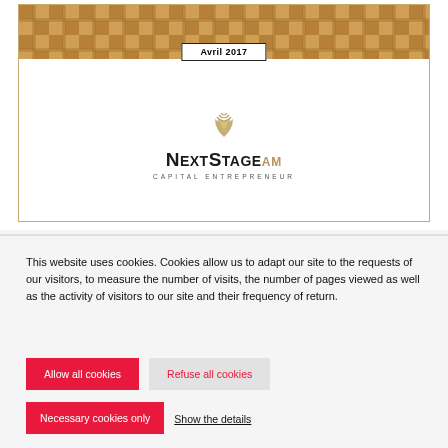[Figure (photo): Document cover page showing a parquet floor background at the top, a date badge reading 'Avril 2017', and the NextStage AM Capital Entrepreneur logo in the center on white background, framed with a golden border.]
Avril 2017
[Figure (logo): NextStage AM Capital Entrepreneur logo with a golden wave/fan icon above the text 'NextStageAM' and tagline 'CAPITAL ENTREPRENEUR']
This website uses cookies. Cookies allow us to adapt our site to the requests of our visitors, to measure the number of visits, the number of pages viewed as well as the activity of visitors to our site and their frequency of return.
Allow all cookies
Refuse all cookies
Necessary cookies only
Show the details